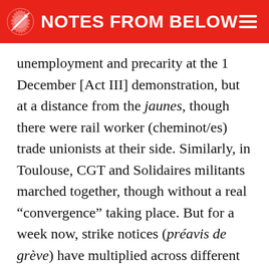NOTES FROM BELOW
unemployment and precarity at the 1 December [Act III] demonstration, but at a distance from the jaunes, though there were rail worker (cheminot/es) trade unionists at their side. Similarly, in Toulouse, CGT and Solidaires militants marched together, though without a real “convergence” taking place. But for a week now, strike notices (préavis de grève) have multiplied across different sectors over the question of spending power and salaries, echoing many